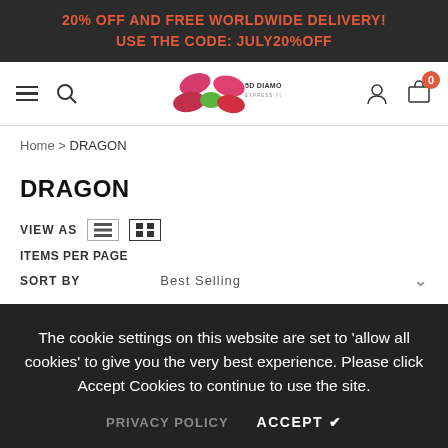20% OFF AND FREE WORLDWIDE DELIVERY! USE THE CODE: JULY20%OFF
[Figure (logo): 5D Diamond Paintings logo with colorful oval shapes and text 'EXPRESS YOUR CREATIVITY']
Home > DRAGON
DRAGON
VIEW AS
ITEMS PER PAGE
SORT BY  Best Selling
The cookie settings on this website are set to 'allow all cookies' to give you the very best experience. Please click Accept Cookies to continue to use the site.
PRIVACY POLICY  ACCEPT ✔